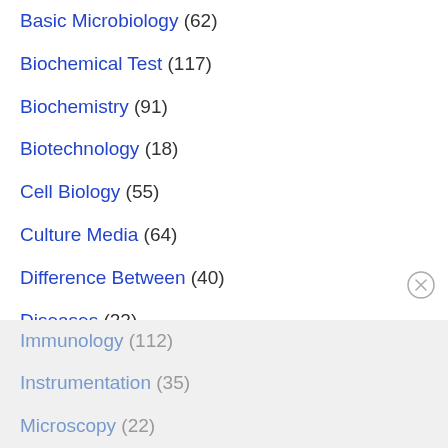Basic Microbiology (62)
Biochemical Test (117)
Biochemistry (91)
Biotechnology (18)
Cell Biology (55)
Culture Media (64)
Difference Between (40)
Diseases (22)
Environmental Microbiology (3)
Food Microbiology (33)
Immunology (112)
Instrumentation (35)
Microscopy (22)